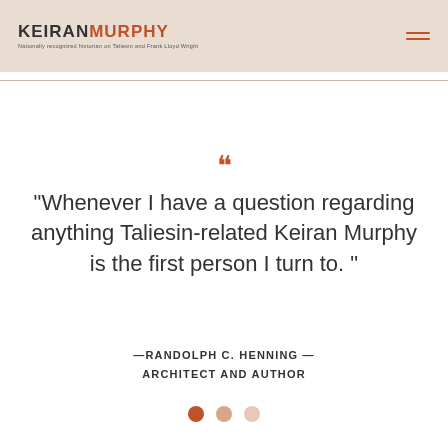KEIRANMURPHY — Nationally recognized historian on Taliesin and Frank Lloyd Wright
“Whenever I have a question regarding anything Taliesin-related Keiran Murphy is the first person I turn to. ”
—RANDOLPH C. HENNING — ARCHITECT AND AUTHOR